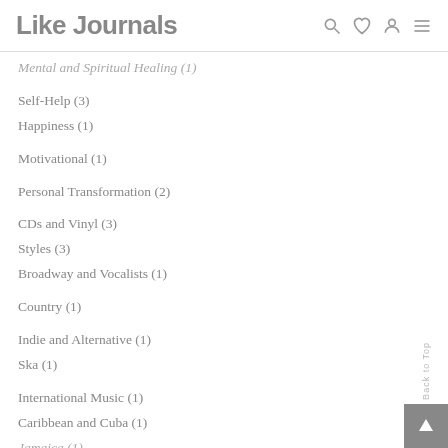Like Journals
Mental and Spiritual Healing (1)
Self-Help (3)
Happiness (1)
Motivational (1)
Personal Transformation (2)
CDs and Vinyl (3)
Styles (3)
Broadway and Vocalists (1)
Country (1)
Indie and Alternative (1)
Ska (1)
International Music (1)
Caribbean and Cuba (1)
Jamaica (1)